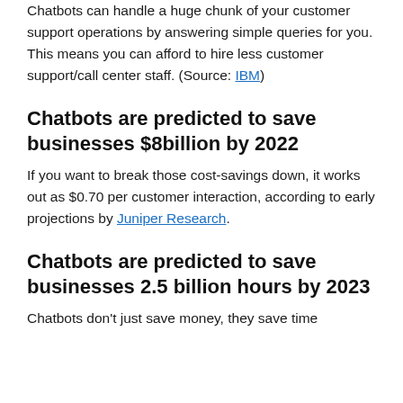Chatbots can handle a huge chunk of your customer support operations by answering simple queries for you. This means you can afford to hire less customer support/call center staff. (Source: IBM)
Chatbots are predicted to save businesses $8billion by 2022
If you want to break those cost-savings down, it works out as $0.70 per customer interaction, according to early projections by Juniper Research.
Chatbots are predicted to save businesses 2.5 billion hours by 2023
Chatbots don't just save money, they save time